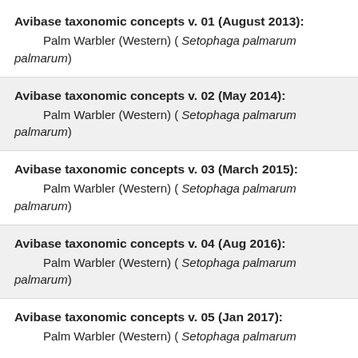Avibase taxonomic concepts v. 01 (August 2013): Palm Warbler (Western) ( Setophaga palmarum palmarum)
Avibase taxonomic concepts v. 02 (May 2014): Palm Warbler (Western) ( Setophaga palmarum palmarum)
Avibase taxonomic concepts v. 03 (March 2015): Palm Warbler (Western) ( Setophaga palmarum palmarum)
Avibase taxonomic concepts v. 04 (Aug 2016): Palm Warbler (Western) ( Setophaga palmarum palmarum)
Avibase taxonomic concepts v. 05 (Jan 2017): Palm Warbler (Western) ( Setophaga palmarum